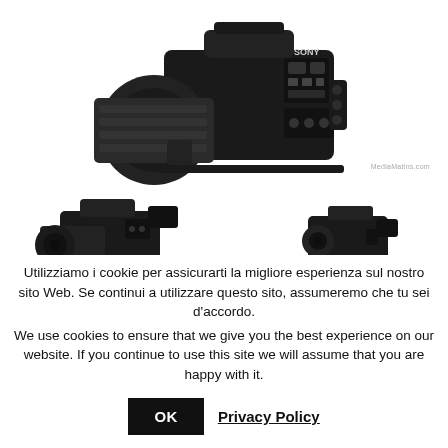[Figure (photo): Sony professional cinema camera with large lens, shown in black and white, top of page]
[Figure (photo): Two smaller Sony cameras shown below the main camera, partially visible at bottom of upper section]
Utilizziamo i cookie per assicurarti la migliore esperienza sul nostro sito Web. Se continui a utilizzare questo sito, assumeremo che tu sei d'accordo.
We use cookies to ensure that we give you the best experience on our website. If you continue to use this site we will assume that you are happy with it.
OK
Privacy Policy